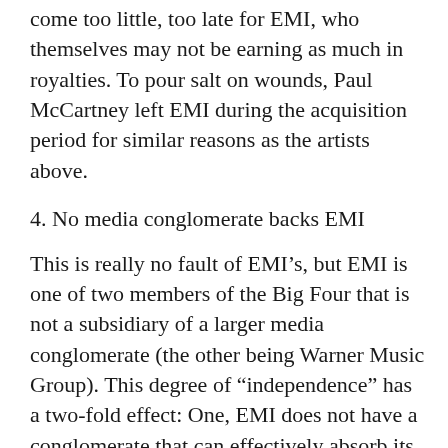come too little, too late for EMI, who themselves may not be earning as much in royalties. To pour salt on wounds, Paul McCartney left EMI during the acquisition period for similar reasons as the artists above.
4. No media conglomerate backs EMI
This is really no fault of EMI’s, but EMI is one of two members of the Big Four that is not a subsidiary of a larger media conglomerate (the other being Warner Music Group). This degree of “independence” has a two-fold effect: One, EMI does not have a conglomerate that can effectively absorb its losses and still maintain optimal day-to-day operations. Two, EMI did not have a direct media platform for which to expand their artists’ outreach effectively, and the world to stream their content eﬀectively,